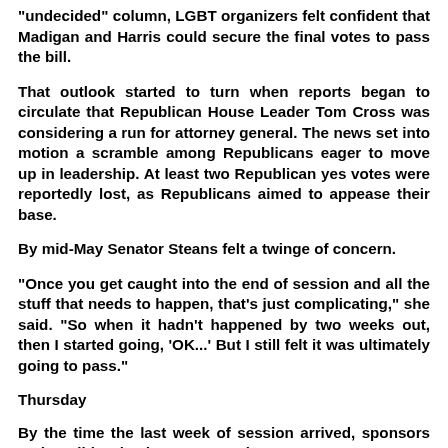"undecided" column, LGBT organizers felt confident that Madigan and Harris could secure the final votes to pass the bill.
That outlook started to turn when reports began to circulate that Republican House Leader Tom Cross was considering a run for attorney general. The news set into motion a scramble among Republicans eager to move up in leadership. At least two Republican yes votes were reportedly lost, as Republicans aimed to appease their base.
By mid-May Senator Steans felt a twinge of concern.
"Once you get caught into the end of session and all the stuff that needs to happen, that's just complicating," she said. "So when it hadn't happened by two weeks out, then I started going, 'OK...' But I still felt it was ultimately going to pass."
Thursday
By the time the last week of session arrived, sponsors and coalition leaders were anxious to see a vote. Many predicted the bill would see a vote on Thursday, May 30, and LGBT families headed for Springfield.